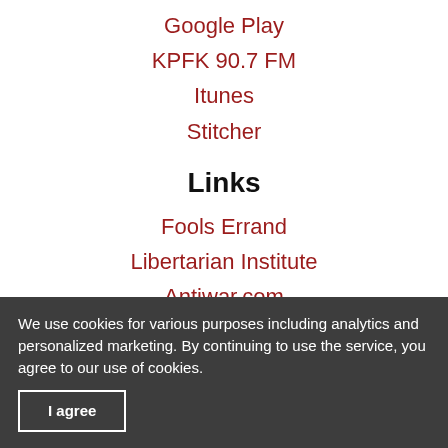Google Play
KPFK 90.7 FM
Itunes
Stitcher
Links
Fools Errand
Libertarian Institute
Antiwar.com
Patreon
Donate by Mail
Scott Horton
612 W. 34th St.
Austin, TX 78705
We use cookies for various purposes including analytics and personalized marketing. By continuing to use the service, you agree to our use of cookies.